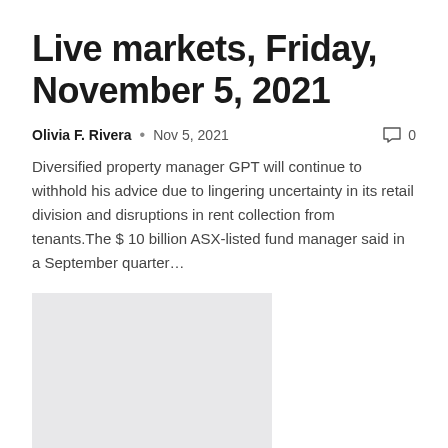Live markets, Friday, November 5, 2021
Olivia F. Rivera  •  Nov 5, 2021  💬 0
Diversified property manager GPT will continue to withhold his advice due to lingering uncertainty in its retail division and disruptions in rent collection from tenants.The $ 10 billion ASX-listed fund manager said in a September quarter…
[Figure (photo): Grey placeholder image box]
UK house prices continue to